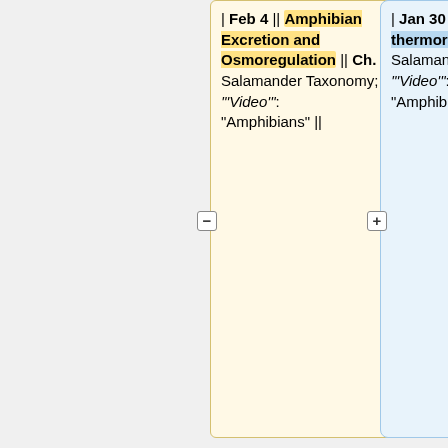| Feb 4 || Amphibian Excretion and Osmoregulation || Ch. 5 || Salamander Taxonomy; '"Video"': "Amphibians" ||
| Jan 30 || Behavioral thermoregulation in reptiles || || Salamander Taxonomy; '"Video"': "Amphibians" ||
|-
{{pdf|http://hydrodictyon.eeb.uconn.edu/eebedia/images/f/f6/Ctsalamanders.pdf}} Connecticut Salamanders
{{pdf|http://hydrodictyon.eeb.uconn.edu/eebedia/images/b/b6/CeciandSala.pdf}}